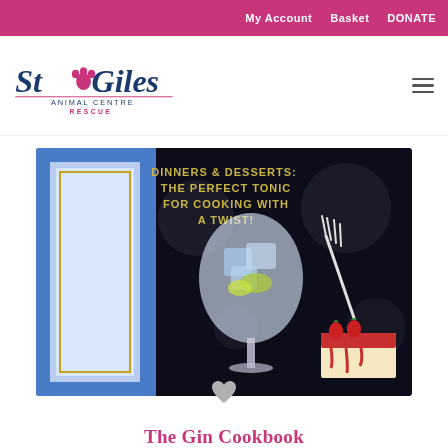My Account   Basket   DONATE
[Figure (logo): St Giles Animal Centre Rescue logo with paw print]
[Figure (photo): Close-up of The Gin Cookbook cover showing a gin glass with ice, a fork, a slice of cheesecake with strawberry sauce, and text reading DINNERS & DESSERTS: THE PERFECT TONIC FOR COOKING WITH A TWIST! on a dark background with blue border]
[Figure (illustration): Small grey heart/wishlist icon]
The Gin Cookbook